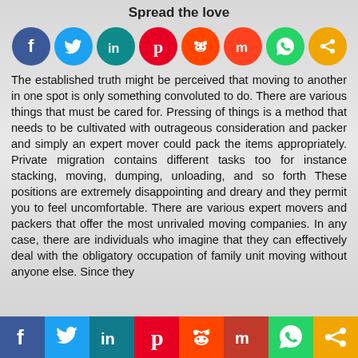Spread the love
[Figure (infographic): Row of 8 social media icon circles: Facebook (blue), Twitter (light blue), LinkedIn (teal), Pinterest (red), Reddit (orange-red), Mix (red-orange), WhatsApp (green), Share (orange)]
The established truth might be perceived that moving to another in one spot is only something convoluted to do. There are various things that must be cared for. Pressing of things is a method that needs to be cultivated with outrageous consideration and packer and simply an expert mover could pack the items appropriately. Private migration contains different tasks too for instance stacking, moving, dumping, unloading, and so forth These positions are extremely disappointing and dreary and they permit you to feel uncomfortable. There are various expert movers and packers that offer the most unrivaled moving companies. In any case, there are individuals who imagine that they can effectively deal with the obligatory occupation of family unit moving without anyone else. Since they
[Figure (infographic): Bottom social media share bar with 8 colored sections: Facebook (blue), Twitter (light blue), LinkedIn (teal/dark), Pinterest (red), Reddit (orange), Mix (dark red), WhatsApp (green), Share (orange)]